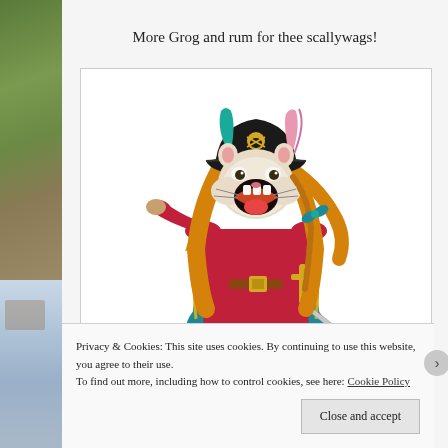More Grog and rum for thee scallywags!
[Figure (illustration): Cartoon illustration of a female pirate character with long orange hair, black pirate hat with skull and crossbones, red coat, teal pants, holding a sword, with a cat/hamster face photoshopped onto the character's head, mouth open wide]
Privacy & Cookies: This site uses cookies. By continuing to use this website, you agree to their use.
To find out more, including how to control cookies, see here: Cookie Policy
Close and accept